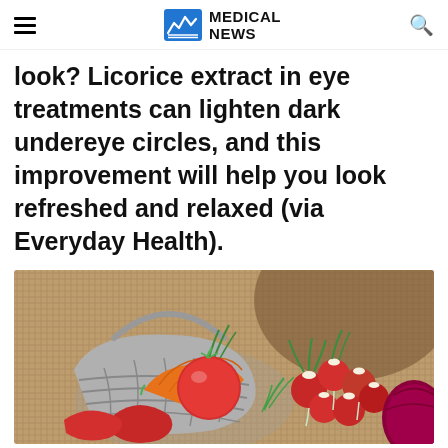MEDICAL NEWS
look? Licorice extract in eye treatments can lighten dark undereye circles, and this improvement will help you look refreshed and relaxed (via Everyday Health).
[Figure (photo): A wicker basket tipped on its side spilling out carrots, red tomatoes, and red peppers, with a bunch of radishes and a red onion on burlap fabric background.]
Advertisement
[Figure (other): Advertisement banner for BitLife - Life Simulator app with Install button.]